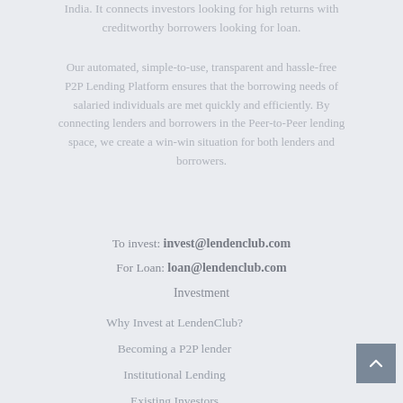India. It connects investors looking for high returns with creditworthy borrowers looking for loan.
Our automated, simple-to-use, transparent and hassle-free P2P Lending Platform ensures that the borrowing needs of salaried individuals are met quickly and efficiently. By connecting lenders and borrowers in the Peer-to-Peer lending space, we create a win-win situation for both lenders and borrowers.
To invest: invest@lendenclub.com
For Loan: loan@lendenclub.com
Investment
Why Invest at LendenClub?
Becoming a P2P lender
Institutional Lending
Existing Investors